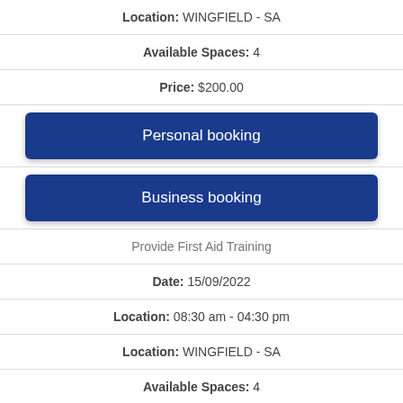Location: WINGFIELD - SA
Available Spaces: 4
Price: $200.00
Personal booking
Business booking
Provide First Aid Training
Date: 15/09/2022
Location: 08:30 am - 04:30 pm
Location: WINGFIELD - SA
Available Spaces: 4
Price: $200.00